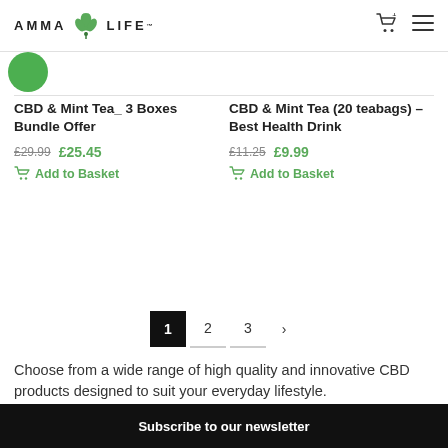AMMA LIFE
CBD & Mint Tea_ 3 Boxes Bundle Offer
£29.99 £25.45
Add to Basket
CBD & Mint Tea (20 teabags) – Best Health Drink
£11.25 £9.99
Add to Basket
1  2  3  >
Choose from a wide range of high quality and innovative CBD products designed to suit your everyday lifestyle.
Subscribe to our newsletter